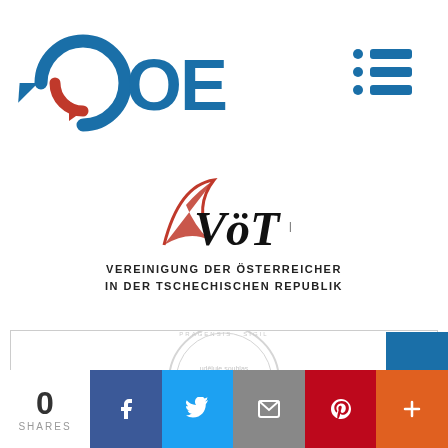[Figure (logo): OEGP logo with blue circular arrow icon and blue OEGP text]
[Figure (logo): Hamburger/list menu icon in blue]
[Figure (logo): VöT logo with red swoosh and black VöT text, subtitle: VEREINIGUNG DER ÖSTERREICHER IN DER TSCHECHISCHEN REPUBLIK]
[Figure (logo): Charles University Prague faculty seal/stamp with text: uděluje souhlas s užitím názvu, Fakultní škola]
[Figure (infographic): Social share bar with 0 shares count, Facebook, Twitter, Email, Pinterest, and More buttons]